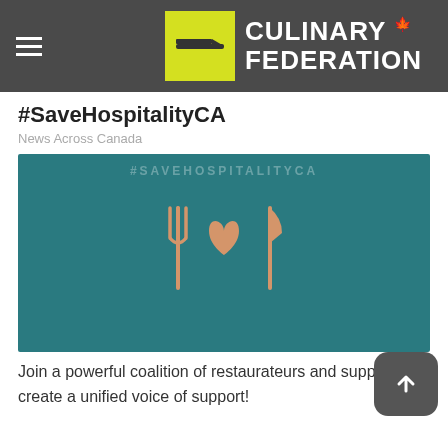Culinary Federation
#SaveHospitalityCA
News Across Canada
[Figure (illustration): Teal background image with #SAVEHOSPITALITYCA text at top and a fork, heart, and knife icon in peach/salmon color in the center.]
Join a powerful coalition of restaurateurs and suppliers to create a unified voice of support!